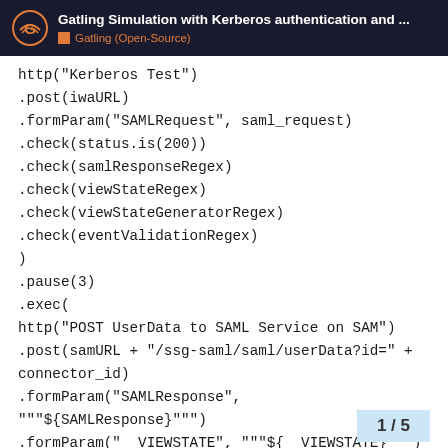Gatling Simulation with Kerberos authentication and ... | Gatling (Open-Source)
http("Kerberos Test")
.post(iwaURL)
.formParam("SAMLRequest", saml_request)
.check(status.is(200))
.check(samlResponseRegex)
.check(viewStateRegex)
.check(viewStateGeneratorRegex)
.check(eventValidationRegex)
)
.pause(3)
.exec(
http("POST UserData to SAML Service on SAM")
.post(samURL + "/ssg-saml/saml/userData?id=" +
connector_id)
.formParam("SAMLResponse", """${SAMLResponse}""")
.formParam("__VIEWSTATE", """${__VIEWSTATE}""")
.formParam("__VIEWSTATEGENERATOR",
"""${__VIEWSTATEGENERATOR}""")
.formParam("__EVENTVALIDATION",
1 / 5